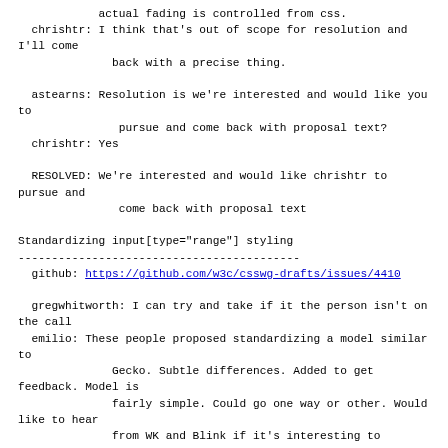actual fading is controlled from css.
  chrishtr: I think that's out of scope for resolution and I'll come
              back with a precise thing.

  astearns: Resolution is we're interested and would like you to
               pursue and come back with proposal text?
  chrishtr: Yes

  RESOLVED: We're interested and would like chrishtr to pursue and
               come back with proposal text

Standardizing input[type="range"] styling
------------------------------------------
  github: https://github.com/w3c/csswg-drafts/issues/4410

  gregwhitworth: I can try and take if it the person isn't on the call
  emilio: These people proposed standardizing a model similar to
              Gecko. Subtle differences. Added to get feedback. Model is
              fairly simple. Could go one way or other. Would like to hear
              from WK and Blink if it's interesting to